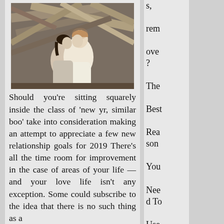[Figure (photo): A couple leaning in to kiss, surrounded by driftwood logs. The woman has dark hair, the man has light/reddish hair and is wearing a cream shirt. Moody outdoor scene.]
Should you're sitting squarely inside the class of 'new yr, similar boo' take into consideration making an attempt to appreciate a few new relationship goals for 2019 There's all the time room for improvement in the case of areas of your life — and your love life isn't any exception. Some could subscribe to the idea that there is no such thing as a
s, remove? The Best Reason You Need To Use A wedding ideas Ho